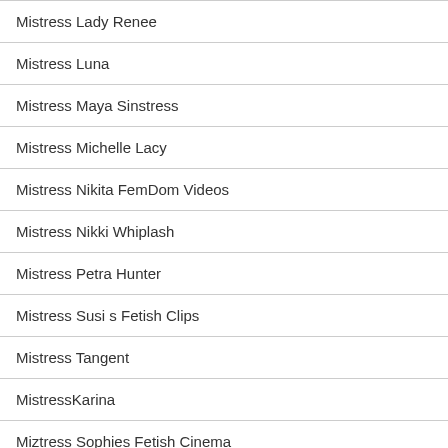Mistress Lady Renee
Mistress Luna
Mistress Maya Sinstress
Mistress Michelle Lacy
Mistress Nikita FemDom Videos
Mistress Nikki Whiplash
Mistress Petra Hunter
Mistress Susi s Fetish Clips
Mistress Tangent
MistressKarina
Miztress Sophies Fetish Cinema